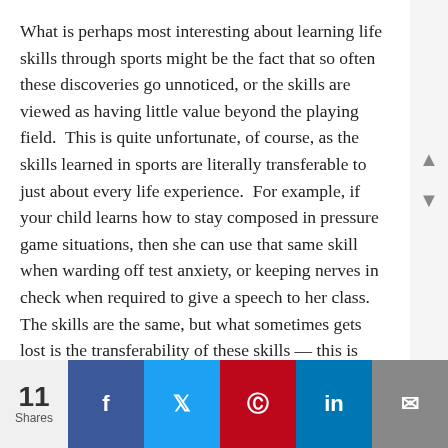What is perhaps most interesting about learning life skills through sports might be the fact that so often these discoveries go unnoticed, or the skills are viewed as having little value beyond the playing field.  This is quite unfortunate, of course, as the skills learned in sports are literally transferable to just about every life experience.  For example, if your child learns how to stay composed in pressure game situations, then she can use that same skill when warding off test anxiety, or keeping nerves in check when required to give a speech to her class.  The skills are the same, but what sometimes gets lost is the transferability of these skills — this is where parents and coaches can step in and show kids how to unpack what they learn on the field and apply it to other life challenges.
11 Shares | Facebook | Twitter | Pinterest | LinkedIn | Email